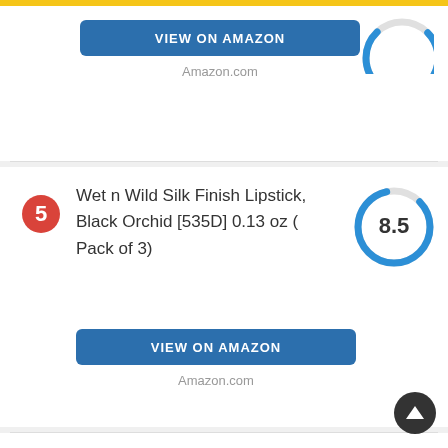[Figure (donut-chart): Score 8.5]
Amazon.com
5 Wet n Wild Silk Finish Lipstick, Black Orchid [535D] 0.13 oz ( Pack of 3)
[Figure (donut-chart): Score 8.5]
VIEW ON AMAZON
Amazon.com
6 Wet n Wild Halloween 2017 Fantasy Makers MegaLast Lip Color Lipstick, Eerie Onyx (Black),...
[Figure (donut-chart): Score 8.4]
VIEW ON AMAZON